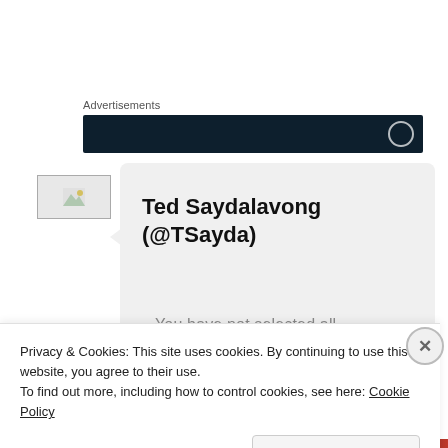Advertisements
[Figure (screenshot): Dark navy advertisement banner with a partial circular icon on the right side]
[Figure (photo): Broken image placeholder thumbnail]
Ted Saydalavong (@TSayda)
Privacy & Cookies: This site uses cookies. By continuing to use this website, you agree to their use.
To find out more, including how to control cookies, see here: Cookie Policy
Close and accept